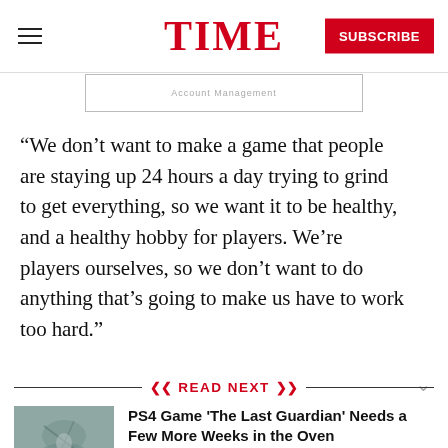TIME
[Figure (other): Partial advertisement/banner stub at top below header, lightly bordered rectangle]
“We don’t want to make a game that people are staying up 24 hours a day trying to grind to get everything, so we want it to be healthy, and a healthy hobby for players. We’re players ourselves, so we don’t want to do anything that’s going to make us have to work too hard.”
READ NEXT
PS4 Game 'The Last Guardian' Needs a Few More Weeks in the Oven